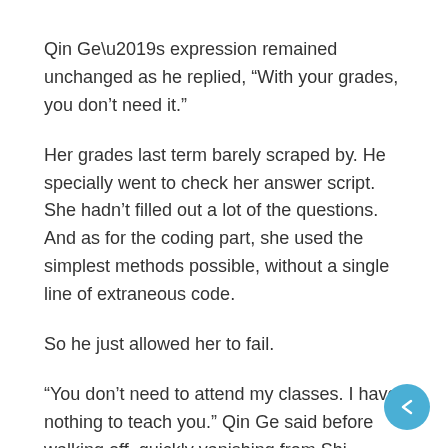Qin Ge’s expression remained unchanged as he replied, “With your grades, you don’t need it.”
Her grades last term barely scraped by. He specially went to check her answer script. She hadn’t filled out a lot of the questions. And as for the coding part, she used the simplest methods possible, without a single line of extraneous code.
So he just allowed her to fail.
“You don’t need to attend my classes. I have nothing to teach you.” Qin Ge said before walking off, quickly vanishing from Shi Sheng’s view.
Shi Sheng, “…”
As the saying goes, you don’t treasure what’s yours until you lose it. All humans were like that.